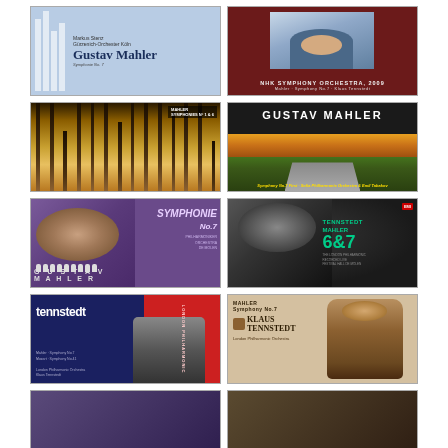[Figure (photo): Album cover: Markus Stenz / Gürzenich-Orchester Köln - Gustav Mahler Symphonie No.7, light blue background with white columns]
[Figure (photo): Album cover: NHK Symphony Orchestra - Mahler Symphony No.7, dark red background with photo of conductor in blue shirt]
[Figure (photo): Album cover: Mahler Symphonies featuring Klimt-style golden forest artwork]
[Figure (photo): Album cover: Gustav Mahler - Symphony No.7 First, Sofia Philharmonic Orchestra & Emil Tabakov, dark background with green landscape]
[Figure (photo): Album cover: Symphonie No.7 - purple/violet background with conductor portrait and silhouettes, Gustav Mahler text]
[Figure (photo): Album cover: Tennstedt Mahler 6&7, dark background with conductor portrait, green text and numbers]
[Figure (photo): Album cover: tennstedt - blue/navy and red design with conductor silhouette, London Philharmonic Orchestra]
[Figure (photo): Album cover: Mahler Symphony No.7 Klaus Tennstedt London Philharmonic Orchestra, sepia toned with portrait]
[Figure (photo): Album cover: partial view, purple toned]
[Figure (photo): Album cover: partial view, dark sepia toned]